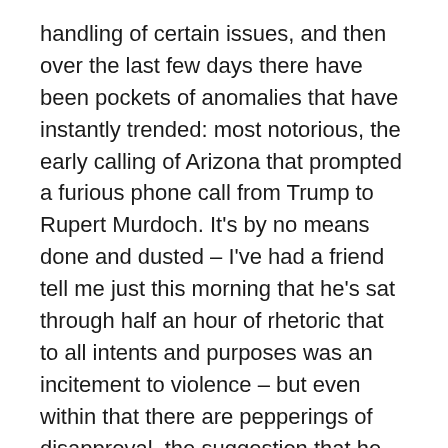handling of certain issues, and then over the last few days there have been pockets of anomalies that have instantly trended: most notorious, the early calling of Arizona that prompted a furious phone call from Trump to Rupert Murdoch. It's by no means done and dusted – I've had a friend tell me just this morning that he's sat through half an hour of rhetoric that to all intents and purposes was an incitement to violence – but even within that there are pepperings of disapproval, the suggestion that he should accept defeat with dignity, which is a little like asking Bruno Tonioli to tone down the theatrics.
If I were an optimist I'd say that it reflects a more considered, editorially balanced stance, one that even leans in the direction of impartiality. But the likely truth is that Fox are the rats deserting the sinking ship. They called this months ago, and have spent the build up to the